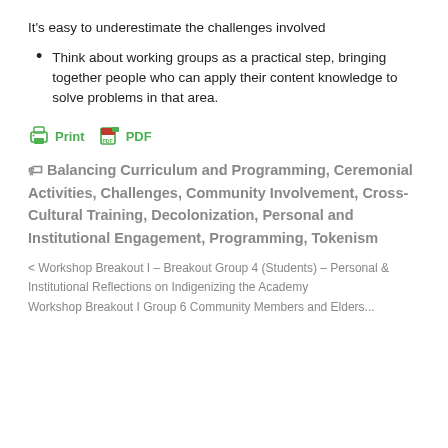It's easy to underestimate the challenges involved
Think about working groups as a practical step, bringing together people who can apply their content knowledge to solve problems in that area.
[Figure (other): Print and PDF buttons with icons]
Balancing Curriculum and Programming, Ceremonial Activities, Challenges, Community Involvement, Cross-Cultural Training, Decolonization, Personal and Institutional Engagement, Programming, Tokenism
< Workshop Breakout I – Breakout Group 4 (Students) – Personal & Institutional Reflections on Indigenizing the Academy
Workshop Breakout I Group 6 Community Members and Elders...